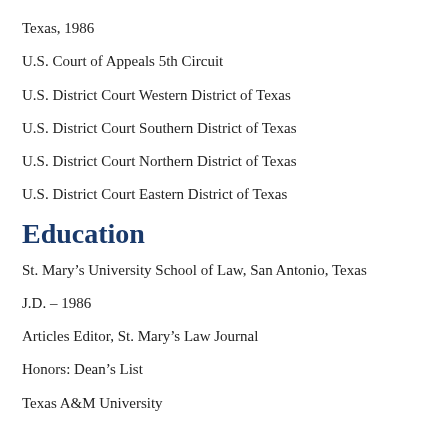Texas, 1986
U.S. Court of Appeals 5th Circuit
U.S. District Court Western District of Texas
U.S. District Court Southern District of Texas
U.S. District Court Northern District of Texas
U.S. District Court Eastern District of Texas
Education
St. Mary's University School of Law, San Antonio, Texas
J.D. – 1986
Articles Editor, St. Mary's Law Journal
Honors: Dean's List
Texas A&M University